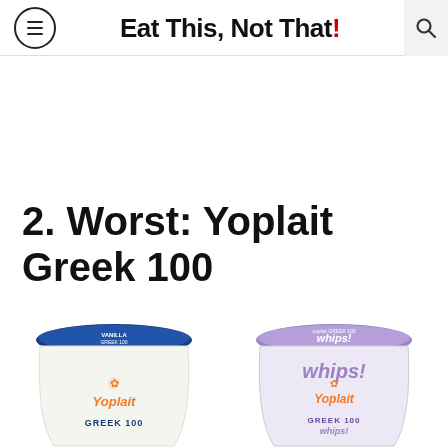Eat This, Not That!
2. Worst: Yoplait Greek 100
[Figure (photo): Two Yoplait Greek 100 yogurt containers side by side. Left: plain white Yoplait Greek 100 cup with blue lid. Right: Yoplait Greek 100 Whips in a purple/lavender container.]